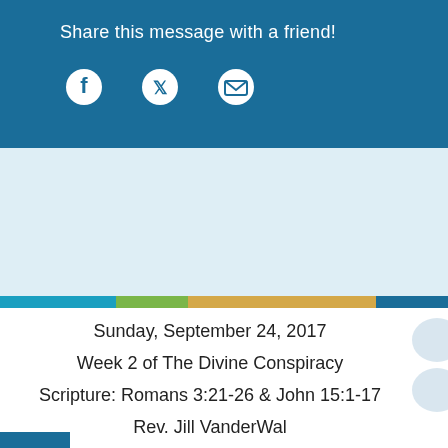Share this message with a friend!
[Figure (infographic): Social sharing icons: Facebook, Twitter, Email (envelope) in white on blue background]
[Figure (infographic): Horizontal color stripe bar with four segments: blue, green, gold/tan, dark blue]
Sunday, September 24, 2017
Week 2 of The Divine Conspiracy
Scripture: Romans 3:21-26 & John 15:1-17
Rev. Jill VanderWal